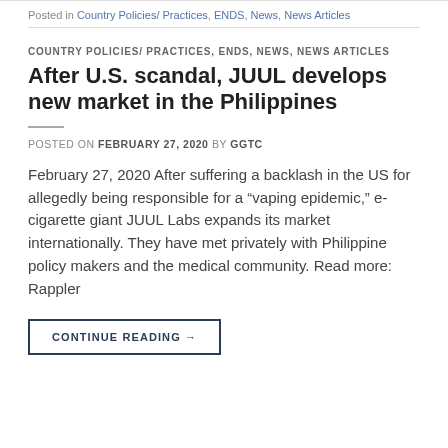Posted in Country Policies/ Practices, ENDS, News, News Articles
COUNTRY POLICIES/ PRACTICES, ENDS, NEWS, NEWS ARTICLES
After U.S. scandal, JUUL develops new market in the Philippines
POSTED ON FEBRUARY 27, 2020 BY GGTC
February 27, 2020 After suffering a backlash in the US for allegedly being responsible for a “vaping epidemic,” e-cigarette giant JUUL Labs expands its market internationally. They have met privately with Philippine policy makers and the medical community. Read more: Rappler
CONTINUE READING →